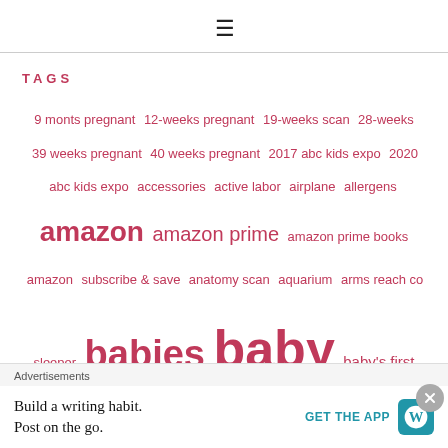≡
TAGS
9 monts pregnant  12-weeks pregnant  19-weeks scan  28-weeks  39 weeks pregnant  40 weeks pregnant  2017 abc kids expo  2020 abc kids expo  accessories  active labor  airplane  allergens  amazon  amazon prime  amazon prime books  amazon subscribe & save  anatomy scan  aquarium  arms reach co sleeper  babies  baby  baby's first birthday  baby accessories  baby blankets  baby books  baby bottles  baby bows  babycenter  babycenter app  baby eating  baby essentials  baby fashion  baby food  baby gear  baby girl  baby
Advertisements
Build a writing habit. Post on the go.
GET THE APP